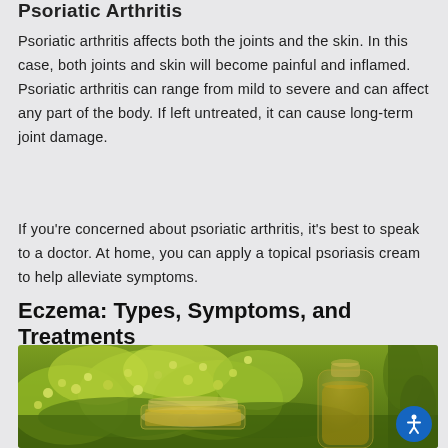Psoriatic Arthritis
Psoriatic arthritis affects both the joints and the skin. In this case, both joints and skin will become painful and inflamed. Psoriatic arthritis can range from mild to severe and can affect any part of the body. If left untreated, it can cause long-term joint damage.
If you’re concerned about psoriatic arthritis, it’s best to speak to a doctor. At home, you can apply a topical psoriasis cream to help alleviate symptoms.
Eczema: Types, Symptoms, and Treatments
[Figure (photo): Close-up photo of yellow-green flowering herbs or plants with glass jars of oil/cream in the background, on a light surface.]